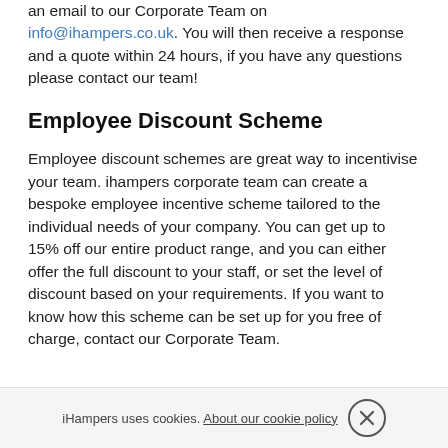an email to our Corporate Team on info@ihampers.co.uk. You will then receive a response and a quote within 24 hours, if you have any questions please contact our team!
Employee Discount Scheme
Employee discount schemes are great way to incentivise your team. ihampers corporate team can create a bespoke employee incentive scheme tailored to the individual needs of your company. You can get up to 15% off our entire product range, and you can either offer the full discount to your staff, or set the level of discount based on your requirements. If you want to know how this scheme can be set up for you free of charge, contact our Corporate Team.
iHampers uses cookies. About our cookie policy